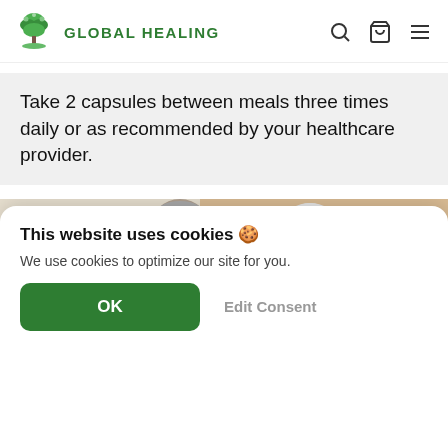[Figure (logo): Global Healing logo with green tree icon and text GLOBAL HEALING]
Take 2 capsules between meals three times daily or as recommended by your healthcare provider.
[Figure (photo): Older couple in kitchen, man being fed a piece of food by smiling woman]
This website uses cookies 🍪
We use cookies to optimize our site for you.
OK
Edit Consent